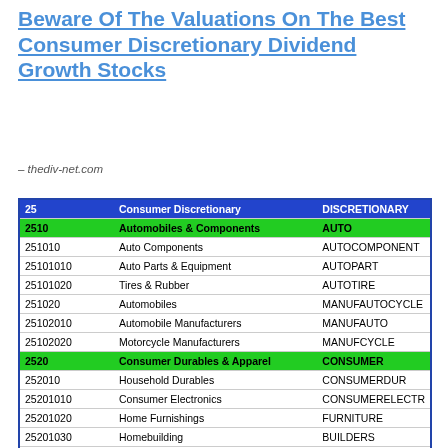Beware Of The Valuations On The Best Consumer Discretionary Dividend Growth Stocks
– thediv-net.com
| Code | Description | Abbreviation |
| --- | --- | --- |
| 25 | Consumer Discretionary | DISCRETIONARY |
| 2510 | Automobiles & Components | AUTO |
| 251010 | Auto Components | AUTOCOMPONENT |
| 25101010 | Auto Parts & Equipment | AUTOPART |
| 25101020 | Tires & Rubber | AUTOTIRE |
| 251020 | Automobiles | MANUFAUTOCYCLE |
| 25102010 | Automobile Manufacturers | MANUFAUTO |
| 25102020 | Motorcycle Manufacturers | MANUFCYCLE |
| 2520 | Consumer Durables & Apparel | CONSUMER |
| 252010 | Household Durables | CONSUMERDUR |
| 25201010 | Consumer Electronics | CONSUMERELECTR |
| 25201020 | Home Furnishings | FURNITURE |
| 25201030 | Homebuilding | BUILDERS |
| 25201040 | Household Appliances | APPLIANCE |
| 25201050 | Housewares & Specialties | HOUSEWARE |